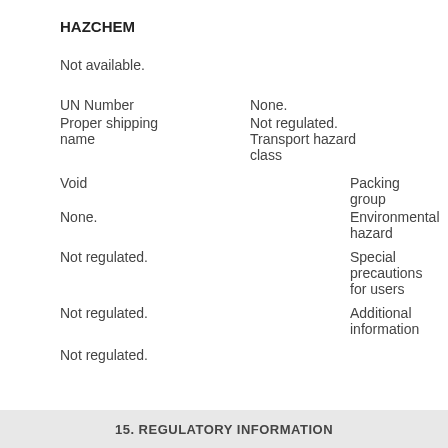HAZCHEM
Not available.
| Field | Value |
| --- | --- |
| UN Number | None. |
| Proper shipping name | Not regulated. |
|  | Transport hazard class |
| Void | Packing group |
| None. | Environmental hazard |
| Not regulated. | Special precautions for users |
| Not regulated. | Additional information |
| Not regulated. |  |
15. REGULATORY INFORMATION